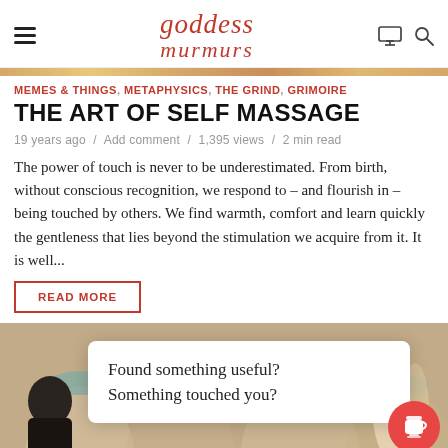goddess murmurs
MEMES & THINGS, METAPHYSICS, THE GRIND, GRIMOIRE
THE ART OF SELF MASSAGE
19 years ago / Add comment / 1,395 views / 2 min read
The power of touch is never to be underestimated. From birth, without conscious recognition, we respond to – and flourish in – being touched by others. We find warmth, comfort and learn quickly the gentleness that lies beyond the stimulation we acquire from it. It is well...
READ MORE
[Figure (illustration): Decorative illustration showing stylized figures, partially obscured by a popup card overlay]
Found something useful? Something touched you?